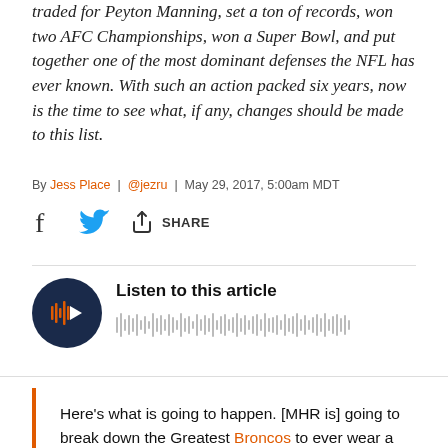traded for Peyton Manning, set a ton of records, won two AFC Championships, won a Super Bowl, and put together one of the most dominant defenses the NFL has ever known. With such an action packed six years, now is the time to see what, if any, changes should be made to this list.
By Jess Place | @jezru | May 29, 2017, 5:00am MDT
[Figure (infographic): Social share bar with Facebook icon, Twitter bird icon, and a share arrow icon with the text SHARE]
[Figure (infographic): Audio player with dark navy circular play button showing orange waveform/play icon, text 'Listen to this article' and audio waveform bar]
Here's what is going to happen. [MHR is] going to break down the Greatest Broncos to ever wear a certain number. Starting with #0 (yep, someone wore